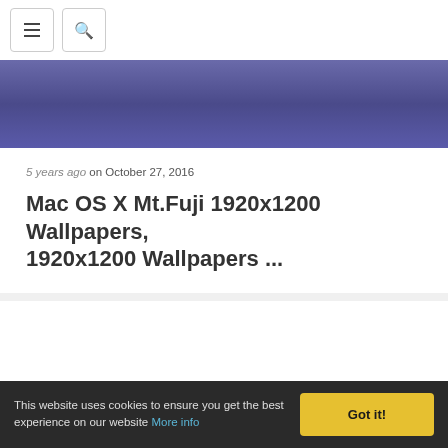Navigation bar with menu and search buttons
[Figure (photo): Hero image with purple/blue gradient sky background]
5 years ago on October 27, 2016
Mac OS X Mt.Fuji 1920x1200 Wallpapers, 1920x1200 Wallpapers ...
This website uses cookies to ensure you get the best experience on our website More info
Got it!